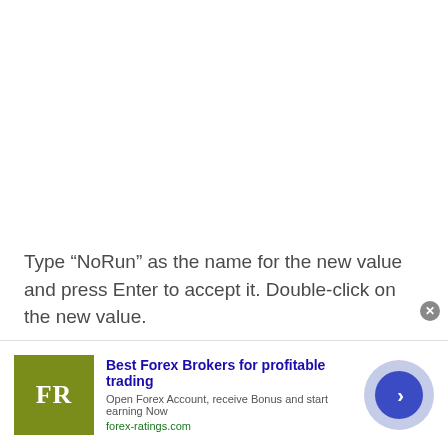Type “NoRun” as the name for the new value and press Enter to accept it. Double-click on the new value.
[Figure (other): Advertisement banner for forex-ratings.com showing FR logo, title 'Best Forex Brokers for profitable trading', subtitle 'Open Forex Account, receive Bonus and start earning Now', URL 'forex-ratings.com', and a blue arrow button.]